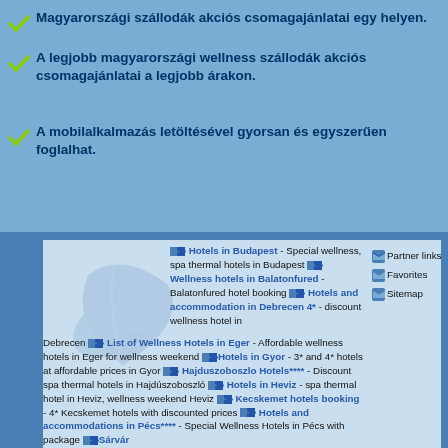Magyarországi szállodák akciós csomagajánlatai egy helyen.
A legjobb magyarországi wellness szállodák akciós csomagajánlatai a legjobb árakon.
A mobilalkalmazás letöltésével gyorsan és egyszerűen foglalhat.
Hotels in Budapest - Special wellness, spa thermal hotels in Budapest Wellness hotels in Balatonfured - Balatonfured hotel booking Hotels and accommodation in Debrecen 4* - discount wellness hotel in Debrecen List of Wellness Hotels in Eger - Affordable wellness hotels in Eger for wellness weekend Hotels in Gyor - 3* and 4* hotels at affordable prices in Gyor Hajduszoboszlo Hotels**** - Discount spa thermal hotels in Hajdúszoboszló Hotels in Heviz - spa thermal hotel in Heviz, wellness weekend Heviz Kecskemet hotels booking - 4* Kecskemet hotels with discounted prices Hotels and accommodations in Pécs**** - Special Wellness Hotels in Pécs with package Sárvár
Partner links
Favorites
Sitemap